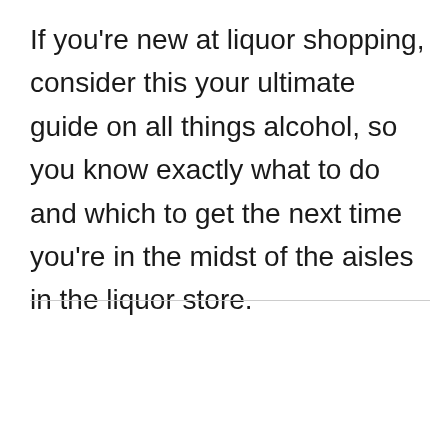If you're new at liquor shopping, consider this your ultimate guide on all things alcohol, so you know exactly what to do and which to get the next time you're in the midst of the aisles in the liquor store.
[Figure (screenshot): Video player showing a black screen with a play button arrow icon. Below the video player is a grey bar with the text 'The video cannot be played in this browser.']